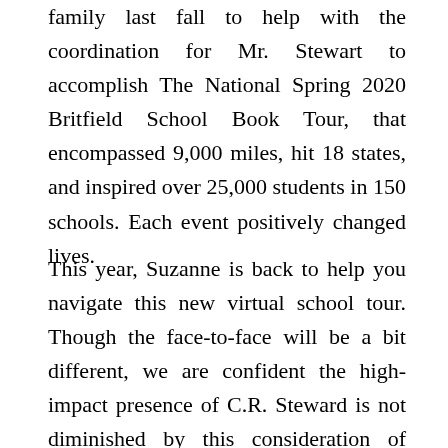family last fall to help with the coordination for Mr. Stewart to accomplish The National Spring 2020 Britfield School Book Tour, that encompassed 9,000 miles, hit 18 states, and inspired over 25,000 students in 150 schools. Each event positively changed lives.
This year, Suzanne is back to help you navigate this new virtual school tour. Though the face-to-face will be a bit different, we are confident the high-impact presence of C.R. Steward is not diminished by this consideration of social